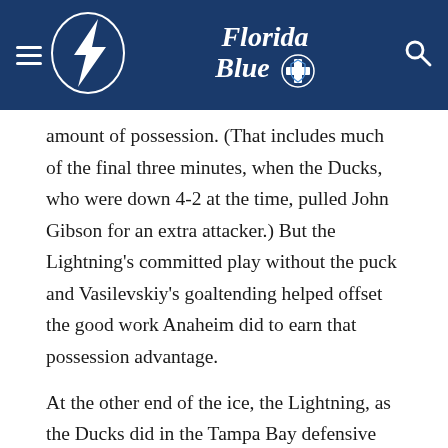Tampa Bay Lightning | Florida Blue
amount of possession. (That includes much of the final three minutes, when the Ducks, who were down 4-2 at the time, pulled John Gibson for an extra attacker.) But the Lightning's committed play without the puck and Vasilevskiy's goaltending helped offset the good work Anaheim did to earn that possession advantage.
At the other end of the ice, the Lightning, as the Ducks did in the Tampa Bay defensive zone, were able to force Anaheim into d-zone turnovers. One of those came early in the first period, when Anthony Cirelli knocked Hampus Lindholm off the puck behind the Ducks net. Cirelli set up Ondrej Palat in front for the first goal of the game. Later